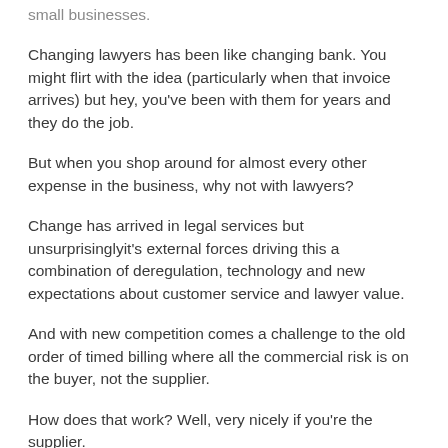small businesses.
Changing lawyers has been like changing bank. You might flirt with the idea (particularly when that invoice arrives) but hey, you've been with them for years and they do the job.
But when you shop around for almost every other expense in the business, why not with lawyers?
Change has arrived in legal services but unsurprisinglyit's external forces driving this a combination of deregulation, technology and new expectations about customer service and lawyer value.
And with new competition comes a challenge to the old order of timed billing where all the commercial risk is on the buyer, not the supplier.
How does that work? Well, very nicely if you're the supplier.
A new era of innovation and technology enables business owners to find alternative and often more cost-